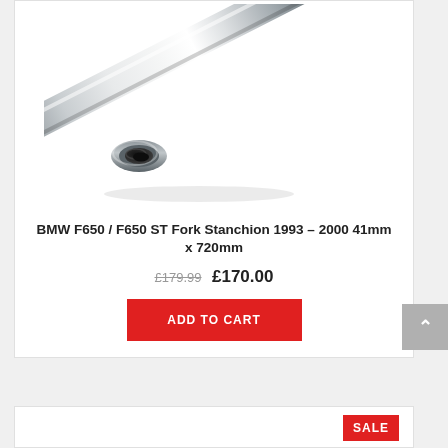[Figure (photo): A chrome/polished metal fork stanchion tube (cylindrical rod) for a BMW F650 motorcycle, shown diagonally with the open hollow end visible at the lower-left.]
BMW F650 / F650 ST Fork Stanchion 1993 – 2000 41mm x 720mm
£179.99  £170.00
ADD TO CART